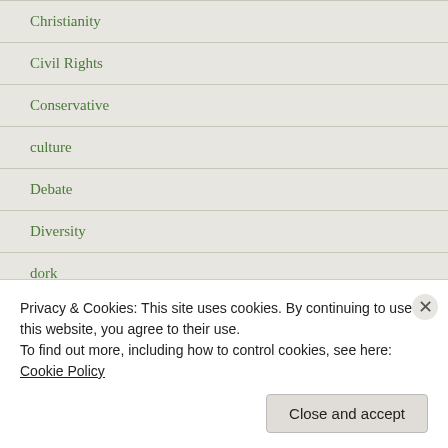Christianity
Civil Rights
Conservative
culture
Debate
Diversity
dork
Equality
fan
Freedom of Religion
Privacy & Cookies: This site uses cookies. By continuing to use this website, you agree to their use.
To find out more, including how to control cookies, see here: Cookie Policy
Close and accept